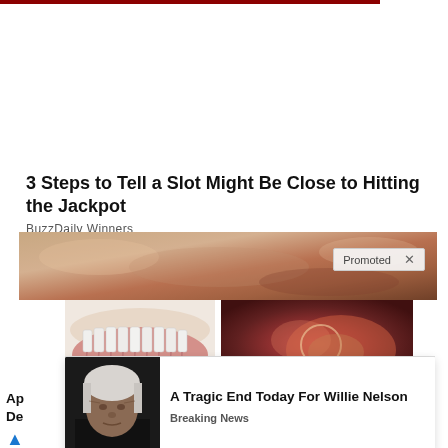[Figure (screenshot): Dark red/maroon top navigation bar strip at top of page]
3 Steps to Tell a Slot Might Be Close to Hitting the Jackpot
BuzzDaily Winners
[Figure (photo): Promoted content banner image showing warm brown/orange tones with a 'Promoted X' badge overlay]
[Figure (photo): Thumbnail image of dental/teeth illustration - lower jaw with teeth roots visible]
[Figure (photo): Thumbnail image of close-up biological/medical imagery in red tones]
[Figure (photo): Photo of elderly Willie Nelson with white hair, dark clothing, serious expression]
A Tragic End Today For Willie Nelson
Breaking News
Ap
De
[Figure (infographic): Blue flame/fire icon]